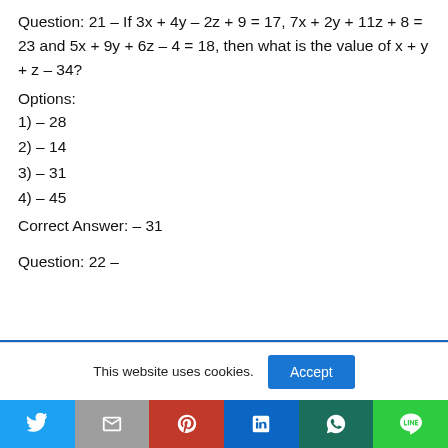Question: 21 – If 3x + 4y – 2z + 9 = 17, 7x + 2y + 11z + 8 = 23 and 5x + 9y + 6z – 4 = 18, then what is the value of x + y + z – 34?
Options:
1) – 28
2) – 14
3) – 31
4) – 45
Correct Answer: – 31
Question: 22 –
This website uses cookies.
Accept